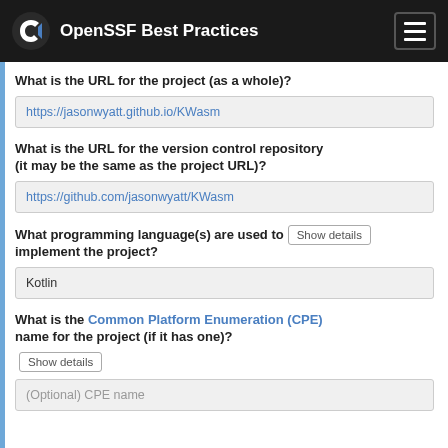OpenSSF Best Practices
What is the URL for the project (as a whole)?
https://jasonwyatt.github.io/KWasm
What is the URL for the version control repository (it may be the same as the project URL)?
https://github.com/jasonwyatt/KWasm
What programming language(s) are used to implement the project? Show details
Kotlin
What is the Common Platform Enumeration (CPE) name for the project (if it has one)?
Show details
(Optional) CPE name